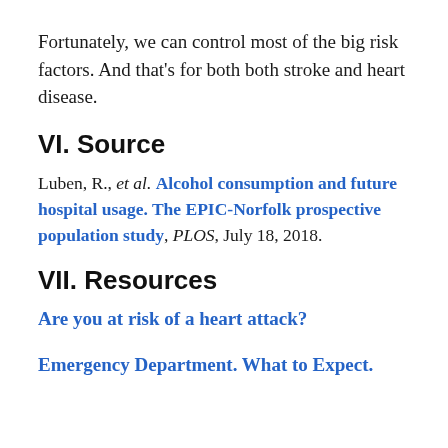Fortunately, we can control most of the big risk factors. And that's for both both stroke and heart disease.
VI. Source
Luben, R., et al. Alcohol consumption and future hospital usage. The EPIC-Norfolk prospective population study, PLOS, July 18, 2018.
VII. Resources
Are you at risk of a heart attack?
Emergency Department. What to Expect.